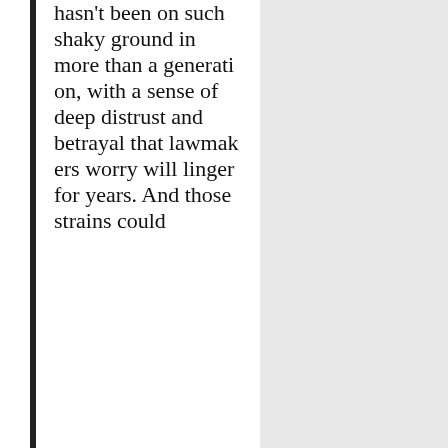hasn't been on such shaky ground in more than a generation, with a sense of deep distrust and betrayal that lawmakers worry will linger for years. And those strains could